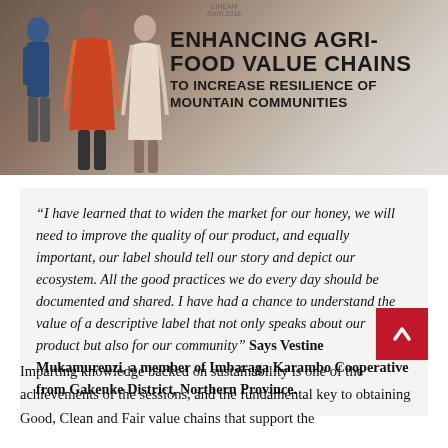[Figure (photo): Three people standing in front of a banner reading 'ENHANCING AGRI-FOOD VALUE CHAINS TO INCREASE RESILIENCE OF MOUNTAIN COMMUNITIES']
“I have learned that to widen the market for our honey, we will need to improve the quality of our product, and equally important, our label should tell our story and depict our ecosystem. All the good practices we do every day should be documented and shared. I have had a chance to understand the value of a descriptive label that not only speaks about our product but also for our community” Says Vestine Mukamurenzi, a member of Imbaraga Karambo Cooperative from Gakenke District, Northern Province.
Imparting knowledge backed on sustainability is one of the achievements of the sessions, and the fundamental key to obtaining Good, Clean and Fair value chains that support the